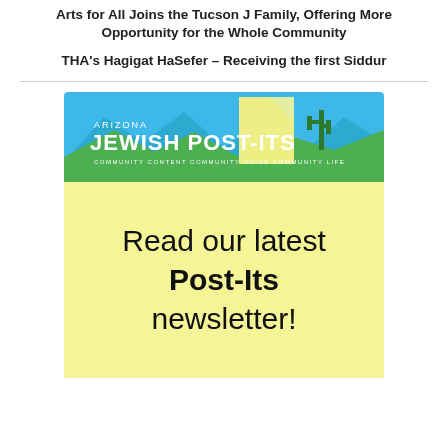Arts for All Joins the Tucson J Family, Offering More Opportunity for the Whole Community
THA’s Hagigat HaSefer – Receiving the first Siddur
[Figure (logo): Arizona Jewish Post-Its logo banner with blue mountain landscape, cactus, yellow sticky note, and tagline: Community Content. Community Voice. Community Life.]
Read our latest Post-Its newsletter!